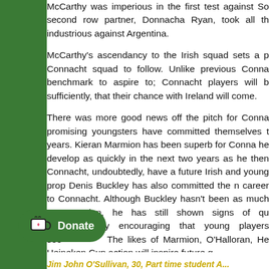McCarthy was imperious in the first test against So second row partner, Donnacha Ryan, took all th industrious against Argentina.
McCarthy's ascendancy to the Irish squad sets a p Connacht squad to follow. Unlike previous Conna benchmark to aspire to; Connacht players will b sufficiently, that their chance with Ireland will come.
There was more good news off the pitch for Conna promising youngsters have committed themselves t years. Kieran Marmion has been superb for Conna he develop as quickly in the next two years as he then Connacht, undoubtedly, have a future Irish and young prop Denis Buckley has also committed the n career to Connacht. Although Buckley hasn't been as much as Marmion, he has still shown signs of qu wholeheartedly encouraging that young players see The likes of Marmion, O'Halloran, He Heineken Cup action will inspire future g
[Figure (other): Donate button with Ko-fi cup icon in green rounded pill shape]
Jim John O'Sullivan, 30, Part time student A...